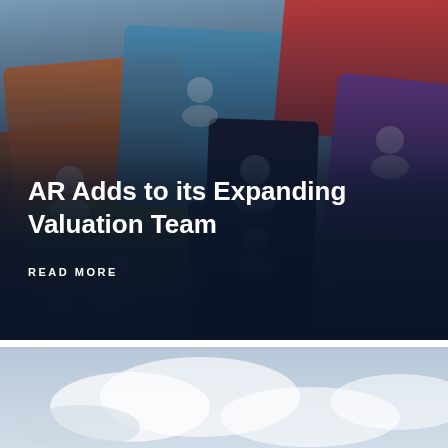[Figure (photo): Colorful puzzle pieces with person/user icons on them arranged on a surface. A dark vertical piece stands prominently in the center with two person icons. Background pieces are orange, blue, red, green, purple and grey tones.]
AR Adds to its Expanding Valuation Team
READ MORE
[Figure (photo): Partial view of a cloudy sky, likely the top of another article card below.]